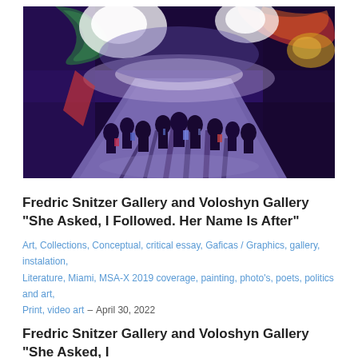[Figure (illustration): Colorful expressionist painting of figures walking away on a road at night with vibrant purple, blue, green, and red hues. Multiple silhouetted people with backpacks walk toward a glowing horizon filled with abstract swirling colors.]
Fredric Snitzer Gallery and Voloshyn Gallery “She Asked, I Followed. Her Name Is After”
Art, Collections, Conceptual, critical essay, Gaficas / Graphics, gallery, instalation, Literature, Miami, MSA-X 2019 coverage, painting, photo’s, poets, politics and art, Print, video art – April 30, 2022
Fredric Snitzer Gallery and Voloshyn Gallery “She Asked, I